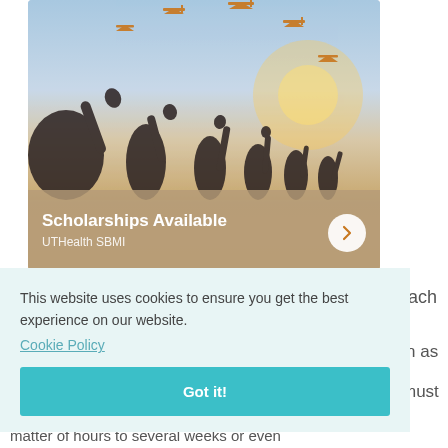[Figure (photo): Graduation photo showing hands tossing mortarboard caps into the sky with a warm sandy background and blue sky. Overlay shows 'Scholarships Available' title and 'UTHealth SBMI' subtitle with a circular arrow button.]
This website uses cookies to ensure you get the best experience on our website.
Cookie Policy
Got it!
ach
n as
must
matter of hours to several weeks or even